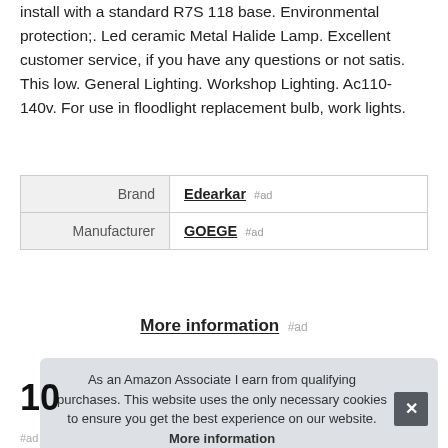install with a standard R7S 118 base. Environmental protection;. Led ceramic Metal Halide Lamp. Excellent customer service, if you have any questions or not satis. This low. General Lighting. Workshop Lighting. Ac110-140v. For use in floodlight replacement bulb, work lights.
|  |  |
| --- | --- |
| Brand | Edearkar #ad |
| Manufacturer | GOEGE #ad |
More information #ad
As an Amazon Associate I earn from qualifying purchases. This website uses the only necessary cookies to ensure you get the best experience on our website. More information
#ad